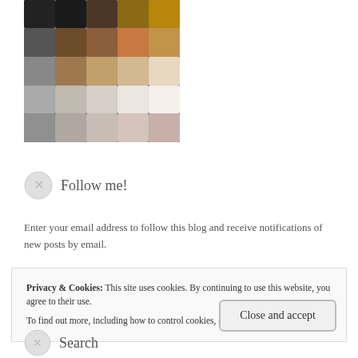[Figure (photo): Grid of colorful fur pom-poms in various colors including black, brown, tan, cream, grey, and mauve arranged in rows]
Follow me!
Enter your email address to follow this blog and receive notifications of new posts by email.
Privacy & Cookies: This site uses cookies. By continuing to use this website, you agree to their use.
To find out more, including how to control cookies, see here: Cookie Policy
Close and accept
Search